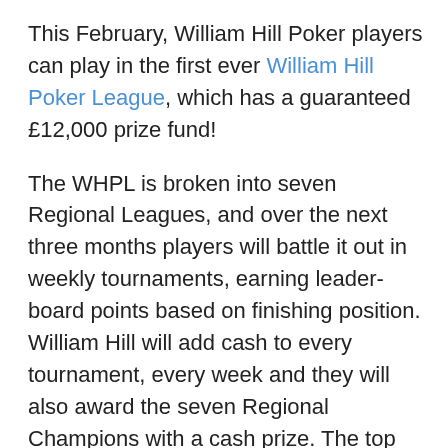This February, William Hill Poker players can play in the first ever William Hill Poker League, which has a guaranteed £12,000 prize fund!
The WHPL is broken into seven Regional Leagues, and over the next three months players will battle it out in weekly tournaments, earning leader-board points based on finishing position. William Hill will add cash to every tournament, every week and they will also award the seven Regional Champions with a cash prize. The top 20 players from each region are then enter into a National Qualifier, the final 9 players from which will play on the WHPL National Final Table where a £5,000 prize fund is guaranteed.